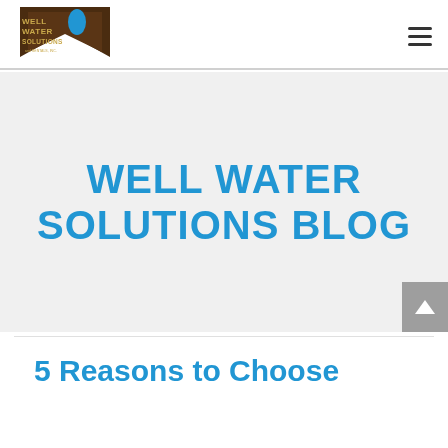[Figure (logo): Well Water Solutions and Rentals Inc. logo with brown triangle shape and blue water drop, gold lettering]
WELL WATER SOLUTIONS BLOG
5 Reasons to Choose